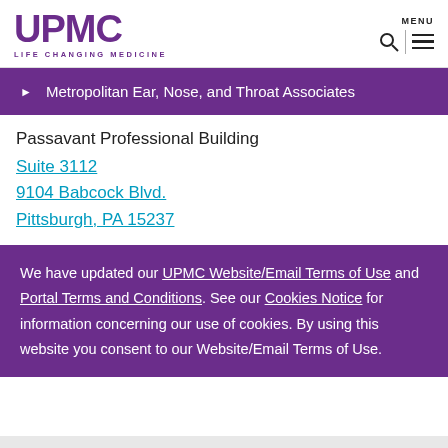UPMC LIFE CHANGING MEDICINE
Metropolitan Ear, Nose, and Throat Associates
Passavant Professional Building
Suite 3112
9104 Babcock Blvd.
Pittsburgh, PA 15237
We have updated our UPMC Website/Email Terms of Use and Portal Terms and Conditions. See our Cookies Notice for information concerning our use of cookies. By using this website you consent to our Website/Email Terms of Use.